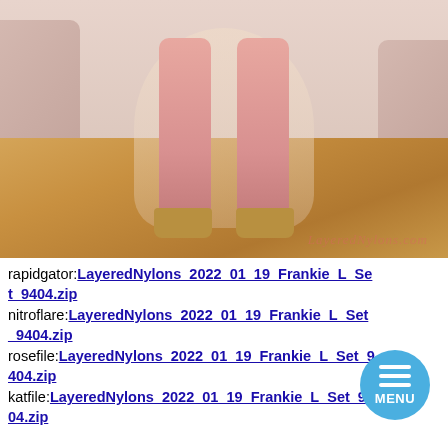[Figure (photo): Photo of a person's legs wearing pink/sheer stockings and gold high-heeled platform shoes, standing on a wooden floor. A pink/beige sofa and room decor visible in background. A watermark reading 'LayeredNylons.com' appears in lower right of image.]
rapidgator:LayeredNylons_2022_01_19_Frankie_L_Set_9404.zip
nitroflare:LayeredNylons_2022_01_19_Frankie_L_Set_9404.zip
rosefile:LayeredNylons_2022_01_19_Frankie_L_Set_9404.zip
katfile:LayeredNylons_2022_01_19_Frankie_L_Set_9404.zip